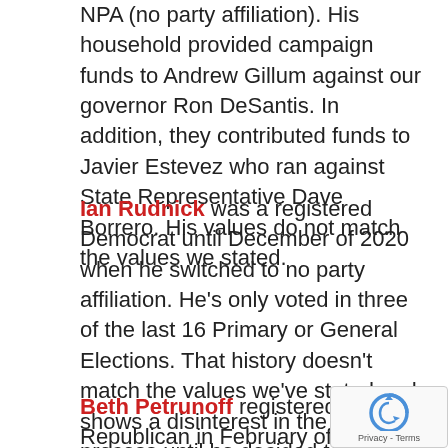NPA (no party affiliation). His household provided campaign funds to Andrew Gillum against our governor Ron DeSantis. In addition, they contributed funds to Javier Estevez who ran against State Representative Dave Borrero. His values do not match the values we stated.
Ian Rudnick was a registered Democrat until December of 2020 when he switched to no party affiliation. He's only voted in three of the last 16 Primary or General Elections. That history doesn't match the values we've stated and shows a disinterest in the election process until he decided to run for office.
Beth Petrunoff registered as a Republican in February of 2020, and switched to No Party Affiliation 3 months later. She became a